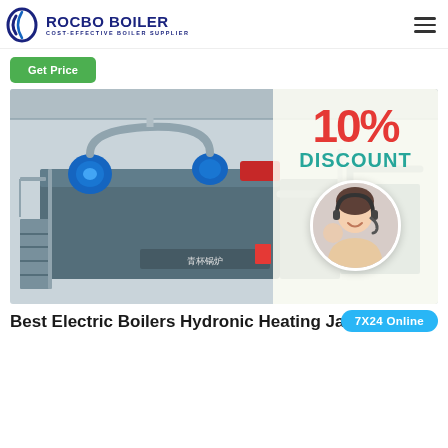ROCBO BOILER — COST-EFFECTIVE BOILER SUPPLIER
Get Price
[Figure (photo): Industrial boiler equipment in a factory setting with blue motors and piping, with a 10% DISCOUNT overlay and a customer service agent photo]
Best Electric Boilers Hydronic Heating January 2022
7X24 Online